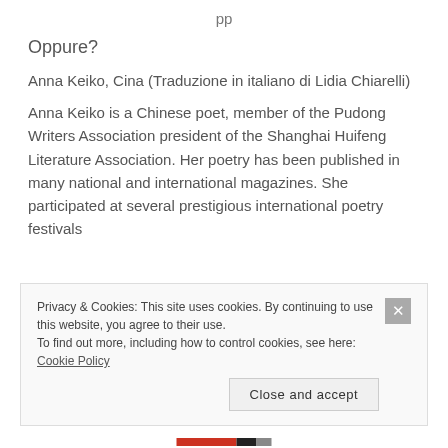pp
Oppure?
Anna Keiko, Cina (Traduzione in italiano di Lidia Chiarelli)
Anna Keiko is a Chinese poet, member of the Pudong Writers Association president of the Shanghai Huifeng Literature Association. Her poetry has been published in many national and international magazines. She participated at several prestigious international poetry festivals
Privacy & Cookies: This site uses cookies. By continuing to use this website, you agree to their use.
To find out more, including how to control cookies, see here: Cookie Policy